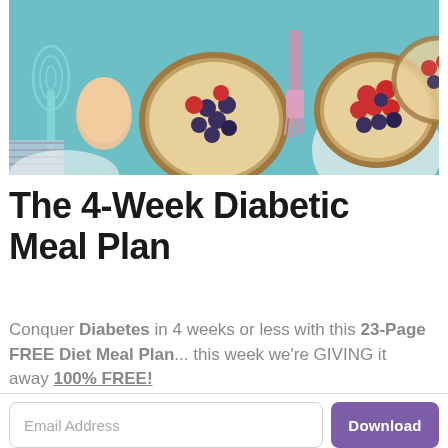[Figure (photo): Overhead view of baking/cooking items on a teal background: whisk, egg, fruit tarts with blueberries and raspberries, pastry brush]
The 4-Week Diabetic Meal Plan
Conquer Diabetes in 4 weeks or less with this 23-Page FREE Diet Meal Plan... this week we're GIVING it away 100% FREE!